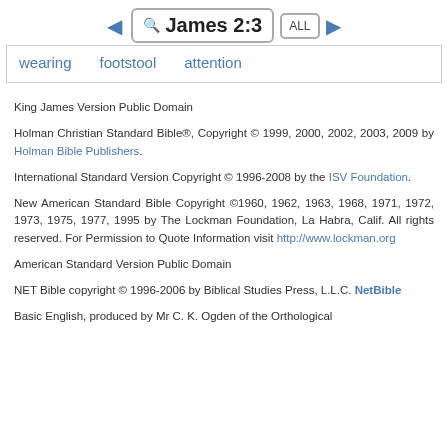James 2:3
wearing  footstool  attention
King James Version Public Domain
Holman Christian Standard Bible®, Copyright © 1999, 2000, 2002, 2003, 2009 by Holman Bible Publishers.
International Standard Version Copyright © 1996-2008 by the ISV Foundation.
New American Standard Bible Copyright ©1960, 1962, 1963, 1968, 1971, 1972, 1973, 1975, 1977, 1995 by The Lockman Foundation, La Habra, Calif. All rights reserved. For Permission to Quote Information visit http://www.lockman.org
American Standard Version Public Domain
NET Bible copyright © 1996-2006 by Biblical Studies Press, L.L.C. NetBible
Basic English, produced by Mr C. K. Ogden of the Orthological